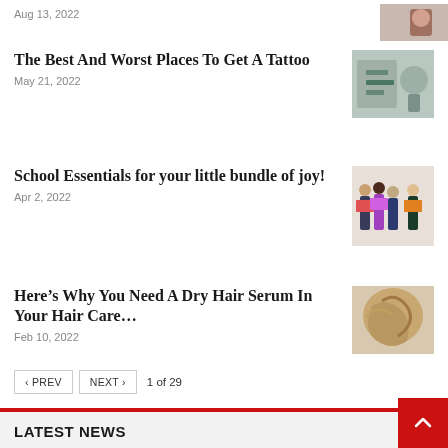Aug 13, 2022
[Figure (photo): Partial photo at top right, partially visible]
The Best And Worst Places To Get A Tattoo
May 21, 2022
[Figure (photo): Tattoo needle on skin, close-up photo]
School Essentials for your little bundle of joy!
Apr 2, 2022
[Figure (photo): Children with backpacks walking away]
Here’s Why You Need A Dry Hair Serum In Your Hair Care…
Feb 10, 2022
[Figure (photo): Woman with hair, close-up]
‹ PREV  NEXT ›  1 of 29
LATEST NEWS